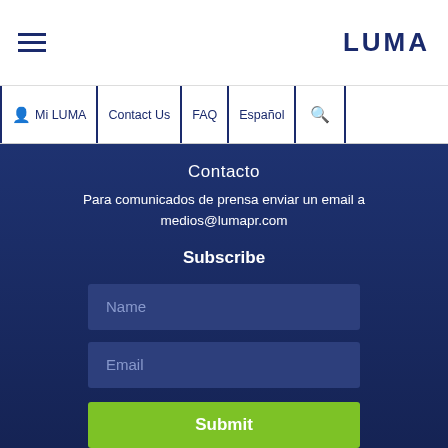LUMA
Mi LUMA | Contact Us | FAQ | Español
Contacto
Para comunicados de prensa enviar un email a medios@lumapr.com
Subscribe
Name
Email
Submit